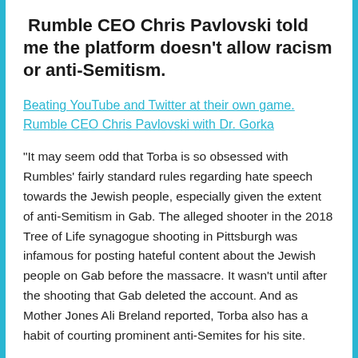Rumble CEO Chris Pavlovski told me the platform doesn't allow racism or anti-Semitism.
Beating YouTube and Twitter at their own game. Rumble CEO Chris Pavlovski with Dr. Gorka
"It may seem odd that Torba is so obsessed with Rumbles' fairly standard rules regarding hate speech towards the Jewish people, especially given the extent of anti-Semitism in Gab. The alleged shooter in the 2018 Tree of Life synagogue shooting in Pittsburgh was infamous for posting hateful content about the Jewish people on Gab before the massacre. It wasn't until after the shooting that Gab deleted the account. And as Mother Jones Ali Breland reported, Torba also has a habit of courting prominent anti-Semites for his site.
…it seems Torbas's preference for social media to make way for anti-Semites mixed with some professional